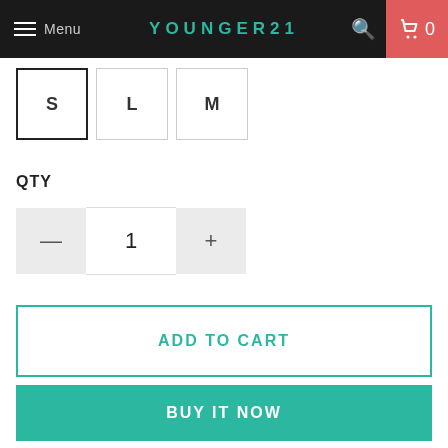Menu | YOUNGER21 | 0
S  L  M
QTY
— 1 +
ADD TO CART
BUY IT NOW
Material:Polyester
Material:Spandex
Waistline:empire
Pattern Type:Solid